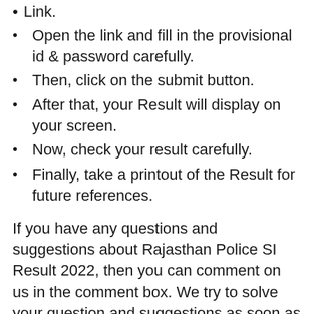Link.
Open the link and fill in the provisional id & password carefully.
Then, click on the submit button.
After that, your Result will display on your screen.
Now, check your result carefully.
Finally, take a printout of the Result for future references.
If you have any questions and suggestions about Rajasthan Police SI Result 2022, then you can comment on us in the comment box. We try to solve your question and suggestions as soon as possible.
Links:-